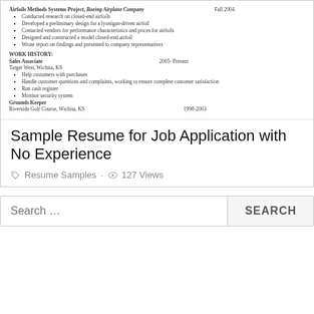[Figure (screenshot): Partial screenshot of a resume showing Airfoils Methods Systems Project at Boeing Airplane Company (Fall 2004) with bullet points, and Work History section with Sales Associate at Target West, Wichita KS (2005-Present) and Grounds Keeper at Riverside Golf Course, Wichita KS (1998-2003)]
Sample Resume for Job Application with No Experience
Resume Samples · 127 Views
Search …
SEARCH